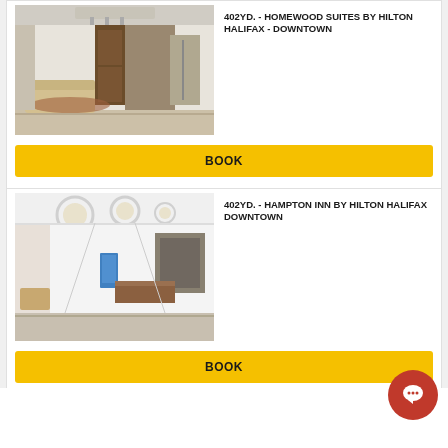[Figure (photo): Hotel lobby interior of Homewood Suites by Hilton Halifax Downtown]
402YD. - HOMEWOOD SUITES BY HILTON HALIFAX - DOWNTOWN
BOOK
[Figure (photo): Hotel lobby interior of Hampton Inn by Hilton Halifax Downtown]
402YD. - HAMPTON INN BY HILTON HALIFAX DOWNTOWN
BOOK
PRACTICAL INFORMATIONS